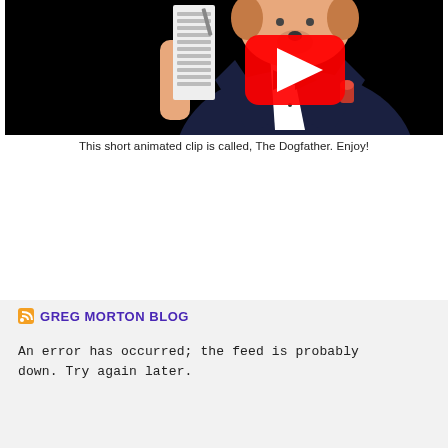[Figure (screenshot): YouTube video thumbnail showing an animated cartoon character dressed in a tuxedo with a black bow tie and red rose, holding a list, with a red YouTube play button overlay. Black background.]
This short animated clip is called, The Dogfather. Enjoy!
CLICK IT FOR TICKETS!
GREG MORTON BLOG
An error has occurred; the feed is probably down. Try again later.